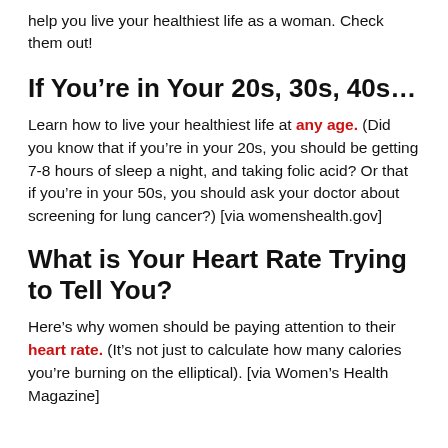help you live your healthiest life as a woman. Check them out!
If You’re in Your 20s, 30s, 40s…
Learn how to live your healthiest life at any age. (Did you know that if you’re in your 20s, you should be getting 7-8 hours of sleep a night, and taking folic acid? Or that if you’re in your 50s, you should ask your doctor about screening for lung cancer?) [via womenshealth.gov]
What is Your Heart Rate Trying to Tell You?
Here’s why women should be paying attention to their heart rate. (It’s not just to calculate how many calories you’re burning on the elliptical). [via Women’s Health Magazine]